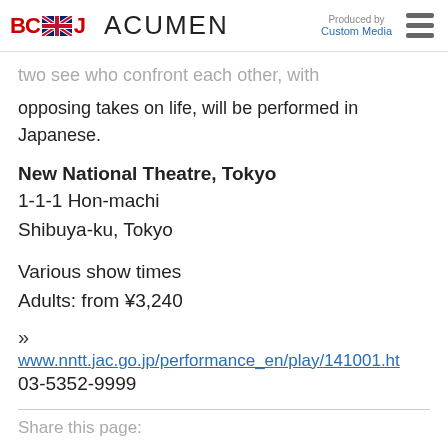BCCJ ACUMEN — Produced by Custom Media
opposing takes on life, will be performed in Japanese.
New National Theatre, Tokyo
1-1-1 Hon-machi
Shibuya-ku, Tokyo
Various show times
Adults: from ¥3,240
» www.nntt.jac.go.jp/performance_en/play/141001.ht
03-5352-9999
Share this page: